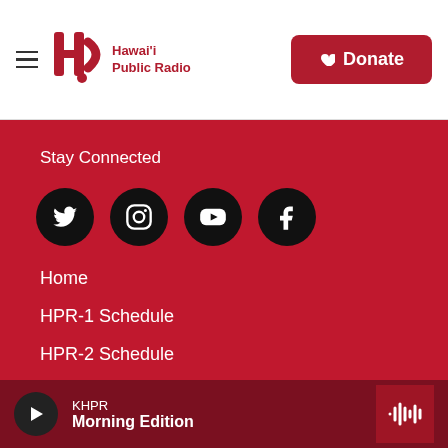[Figure (logo): Hawaii Public Radio logo with hamburger menu icon and Donate button]
Stay Connected
[Figure (infographic): Four social media icons in black circles: Twitter, Instagram, YouTube, Facebook]
Home
HPR-1 Schedule
HPR-2 Schedule
Contact
Terms of Service
KHPR Morning Edition